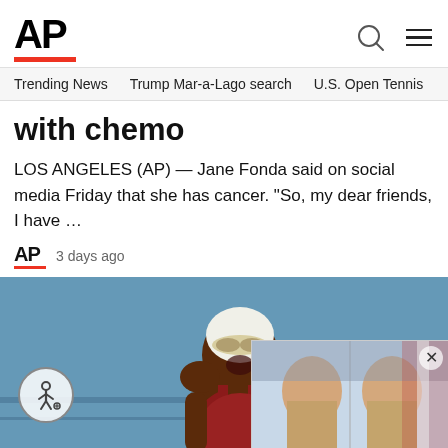[Figure (logo): AP (Associated Press) logo with red underline bar]
Trending News   Trump Mar-a-Lago search   U.S. Open Tennis
with chemo
LOS ANGELES (AP) — Jane Fonda said on social media Friday that she has cancer. "So, my dear friends, I have …
AP   3 days ago
[Figure (photo): Female swimmer in red swimsuit and white cap with goggles, hands on cheeks in expression of shock/amazement, at aquatics venue]
[Figure (photo): Overlay card showing two men's mugshot-style photos with text 'StabbingsinCanad...' and AP red bar]
[Figure (screenshot): Accessibility (wheelchair person) icon button overlay on photo]